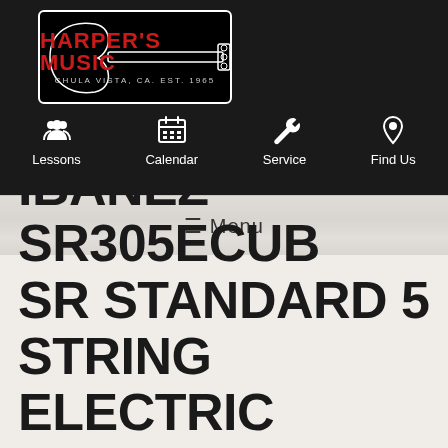[Figure (logo): Harper's Music logo with guitar silhouette on black background. Red bold text 'HARPER'S MUSIC' with subtitle 'CHULA VISTA, CA. EST. 1965']
Lessons  Calendar  Service  Find Us
≡ Menu
IBANEZ SR305ECUB SR STANDARD 5 STRING ELECTRIC